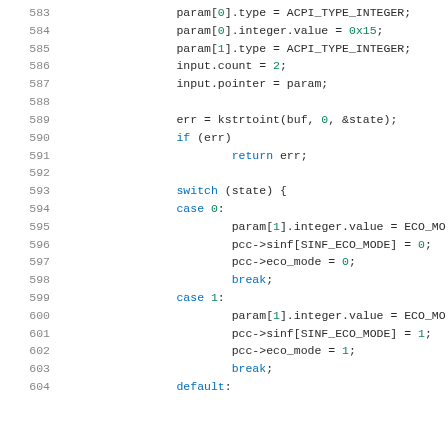Source code listing lines 583-604, C language kernel code with ACPI and ECO_MODE logic